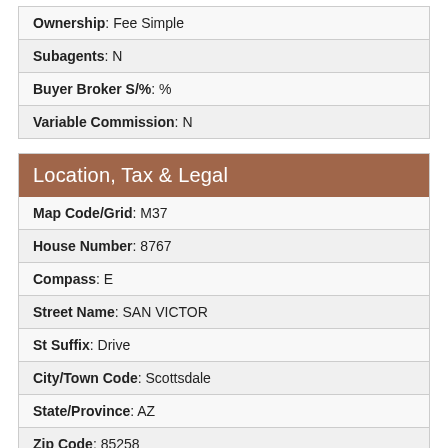| Ownership: Fee Simple |
| Subagents: N |
| Buyer Broker S/%: % |
| Variable Commission: N |
Location, Tax & Legal
| Map Code/Grid: M37 |
| House Number: 8767 |
| Compass: E |
| Street Name: SAN VICTOR |
| St Suffix: Drive |
| City/Town Code: Scottsdale |
| State/Province: AZ |
| Zip Code: 85258 |